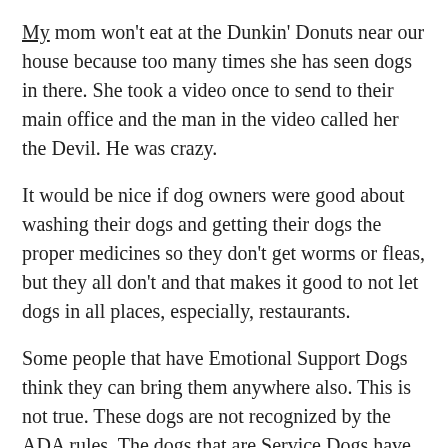My mom won't eat at the Dunkin' Donuts near our house because too many times she has seen dogs in there. She took a video once to send to their main office and the man in the video called her the Devil. He was crazy.
It would be nice if dog owners were good about washing their dogs and getting their dogs the proper medicines so they don't get worms or fleas, but they all don't and that makes it good to not let dogs in all places, especially, restaurants.
Some people that have Emotional Support Dogs think they can bring them anywhere also. This is not true. These dogs are not recognized by the ADA rules. The dogs that are Service Dogs have to perform a function to help the person. I found this on a website: http://www.servicedogblog.com/2011/04/12689/